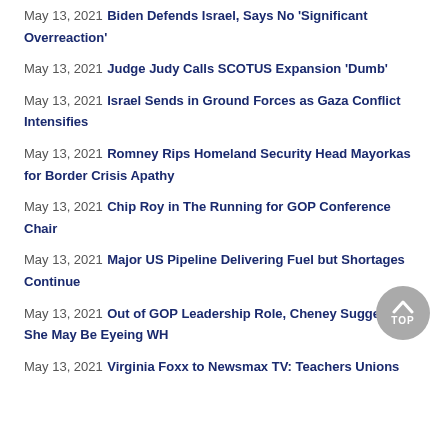May 13, 2021 Biden Defends Israel, Says No 'Significant Overreaction'
May 13, 2021 Judge Judy Calls SCOTUS Expansion 'Dumb'
May 13, 2021 Israel Sends in Ground Forces as Gaza Conflict Intensifies
May 13, 2021 Romney Rips Homeland Security Head Mayorkas for Border Crisis Apathy
May 13, 2021 Chip Roy in The Running for GOP Conference Chair
May 13, 2021 Major US Pipeline Delivering Fuel but Shortages Continue
May 13, 2021 Out of GOP Leadership Role, Cheney Suggests She May Be Eyeing WH
May 13, 2021 Virginia Foxx to Newsmax TV: Teachers Unions